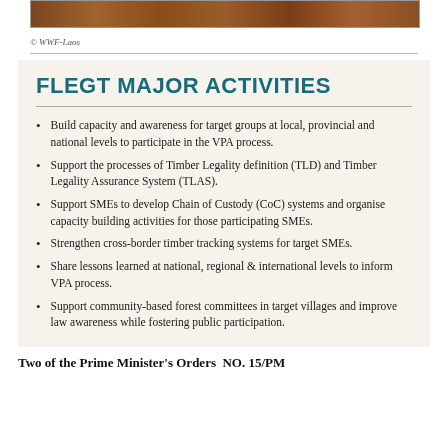[Figure (photo): Horizontal photo strip showing wood/timber texture in brown tones]
© WWF-Laos
FLEGT MAJOR ACTIVITIES
Build capacity and awareness for target groups at local, provincial and national levels to participate in the VPA process.
Support the processes of Timber Legality definition (TLD) and Timber Legality Assurance System (TLAS).
Support SMEs to develop Chain of Custody (CoC) systems and organise capacity building activities for those participating SMEs.
Strengthen cross-border timber tracking systems for target SMEs.
Share lessons learned at national, regional & international levels to inform VPA process.
Support community-based forest committees in target villages and improve law awareness while fostering public participation.
Two of the Prime Minister's Orders  NO. 15/PM